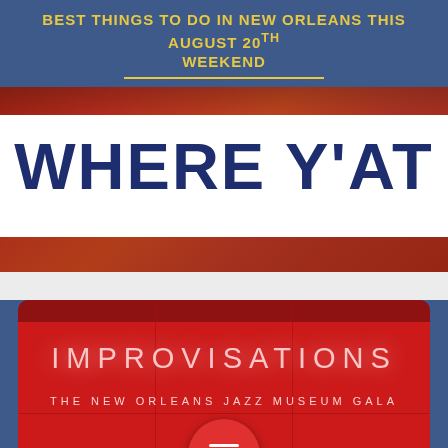BEST THINGS TO DO IN NEW ORLEANS THIS AUGUST 20th WEEKEND
[Figure (logo): Where Y'at magazine logo on a white parallelogram banner over a red/orange New Orleans cityscape background]
[Figure (photo): Red card/panel showing 'IMPROVISATIONS – THE NEW ORLEANS JAZZ MUSEUM GALA' text in glowing letters on a red background with grid lines, overlaid with a circular hamburger menu button and a blue footer bar with email icon and 'Orleans' text]